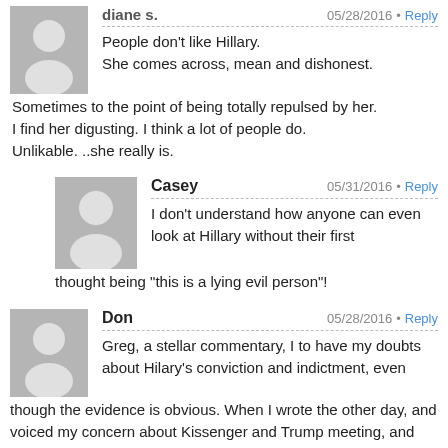[Figure (illustration): Gray placeholder avatar icon for user diane s.]
diane s.
05/28/2016 • Reply
People don't like Hillary.
She comes across, mean and dishonest.
Sometimes to the point of being totally repulsed by her.
I find her digusting. I think a lot of people do.
Unlikable. ..she really is.
[Figure (illustration): Gray placeholder avatar icon for user Casey]
Casey
05/31/2016 • Reply
I don't understand how anyone can even look at Hillary without their first thought being “this is a lying evil person”!
[Figure (illustration): Gray placeholder avatar icon for user Don]
Don
05/28/2016 • Reply
Greg, a stellar commentary, I to have my doubts about Hilary's conviction and indictment, even though the evidence is obvious. When I wrote the other day, and voiced my concern about Kissenger and Trump meeting, and earlier Richard Hass of the CFR, I haven't seen any signs of